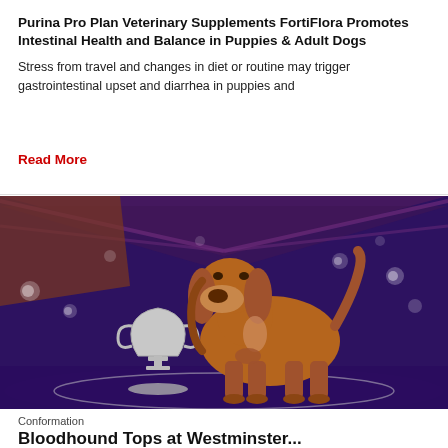Purina Pro Plan Veterinary Supplements FortiFlora Promotes Intestinal Health and Balance in Puppies & Adult Dogs
Stress from travel and changes in diet or routine may trigger gastrointestinal upset and diarrhea in puppies and
Read More
[Figure (photo): A bloodhound dog standing on a purple-lit show ring platform next to a trophy cup, with a purple-lit arena in the background.]
Conformation
Bloodhound Tops at Westminster...